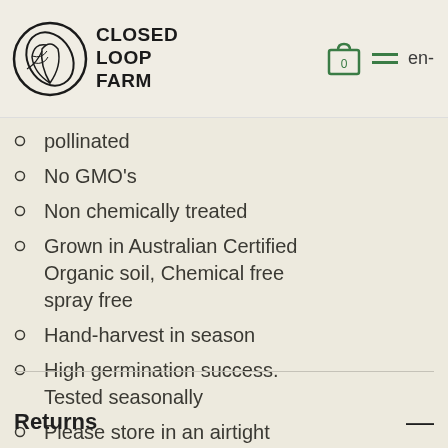CLOSED LOOP FARM
pollinated
No GMO's
Non chemically treated
Grown in Australian Certified Organic soil, Chemical free spray free
Hand-harvest in season
High germination success. Tested seasonally
Please store in an airtight container in the refrigerator or a cool, dry place, away from heat and direct sunlight
Returns